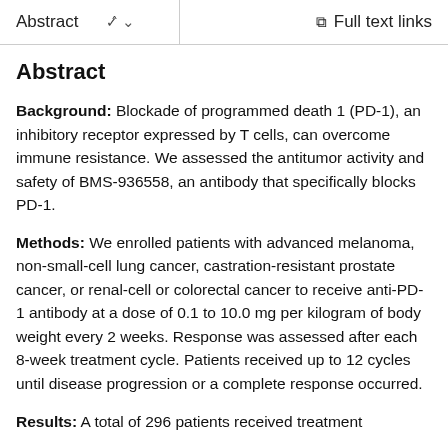Abstract  ∨    Full text links
Abstract
Background: Blockade of programmed death 1 (PD-1), an inhibitory receptor expressed by T cells, can overcome immune resistance. We assessed the antitumor activity and safety of BMS-936558, an antibody that specifically blocks PD-1.
Methods: We enrolled patients with advanced melanoma, non-small-cell lung cancer, castration-resistant prostate cancer, or renal-cell or colorectal cancer to receive anti-PD-1 antibody at a dose of 0.1 to 10.0 mg per kilogram of body weight every 2 weeks. Response was assessed after each 8-week treatment cycle. Patients received up to 12 cycles until disease progression or a complete response occurred.
Results: A total of 296 patients received treatment